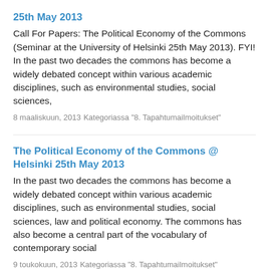25th May 2013
Call For Papers: The Political Economy of the Commons (Seminar at the University of Helsinki 25th May 2013). FYI! In the past two decades the commons has become a widely debated concept within various academic disciplines, such as environmental studies, social sciences,
8 maaliskuun, 2013
Kategoriassa "8. Tapahtumailmoitukset"
The Political Economy of the Commons @ Helsinki 25th May 2013
In the past two decades the commons has become a widely debated concept within various academic disciplines, such as environmental studies, social sciences, law and political economy. The commons has also become a central part of the vocabulary of contemporary social
9 toukokuun, 2013
Kategoriassa "8. Tapahtumailmoitukset"